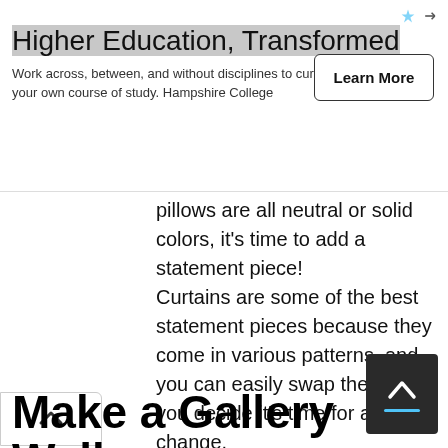[Figure (screenshot): Advertisement banner for Hampshire College: 'Higher Education, Transformed' with a 'Learn More' button and small ad icons in the top-right corner.]
pillows are all neutral or solid colors, it's time to add a statement piece! Curtains are some of the best statement pieces because they come in various patterns, and you can easily swap them out if you decide it's time for a change.
Make a Gallery Wall
If you have a blank wall in your living room, why not use it to create a gallery